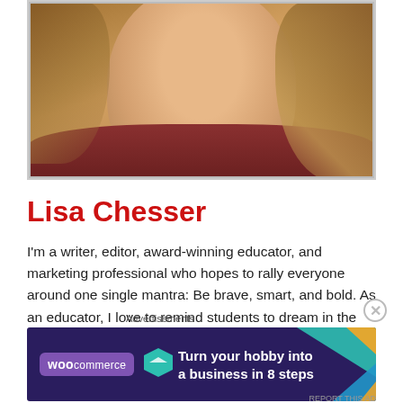[Figure (photo): Close-up portrait photo of a woman with wavy brown/blonde hair, wearing a dark red top, smiling, framed with a light border]
Lisa Chesser
I'm a writer, editor, award-winning educator, and marketing professional who hopes to rally everyone around one single mantra: Be brave, smart, and bold. As an educator, I love to remind students to dream in the midst of politics gone mad! Thus, I am also a
Advertisements
[Figure (screenshot): WooCommerce advertisement banner with dark navy background, colorful triangles, WooCommerce logo, and text 'Turn your hobby into a business in 8 steps']